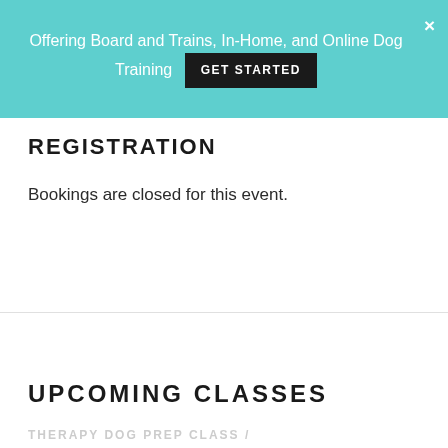Offering Board and Trains, In-Home, and Online Dog Training GET STARTED ×
REGISTRATION
Bookings are closed for this event.
UPCOMING CLASSES
THERAPY DOG PREP CLASS / …